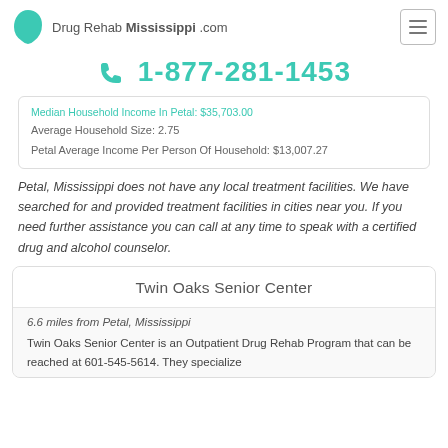Drug Rehab Mississippi .com
1-877-281-1453
Median Household Income In Petal: $35,703.00
Average Household Size: 2.75
Petal Average Income Per Person Of Household: $13,007.27
Petal, Mississippi does not have any local treatment facilities. We have searched for and provided treatment facilities in cities near you. If you need further assistance you can call at any time to speak with a certified drug and alcohol counselor.
Twin Oaks Senior Center
6.6 miles from Petal, Mississippi
Twin Oaks Senior Center is an Outpatient Drug Rehab Program that can be reached at 601-545-5614. They specialize